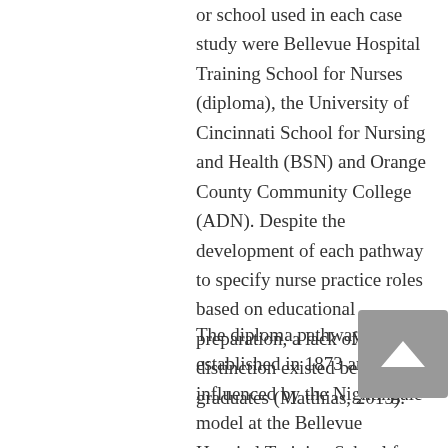or school used in each case study were Bellevue Hospital Training School for Nurses (diploma), the University of Cincinnati School for Nursing and Health (BSN) and Orange County Community College (ADN). Despite the development of each pathway to specify nurse practice roles based on educational preparation, a lack of distinction existed between graduates (Matthias, 2015).
The diploma pathway was established in 1873 and influenced by the Nightingale model at the Bellevue Hospital Training School for Nurses in New York, New York. In the early 1900s, the BSN program was designed to provide an entry-level pathway for practice in community health. The Cincinnati General Hospital School of